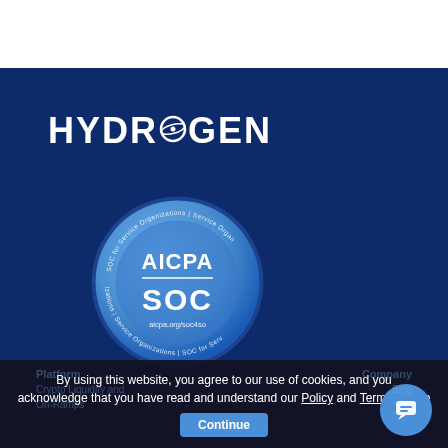[Figure (logo): Hydrogen logo — white bold text 'HYDROGEN' with a stylized atom/orbit O glyph, on dark blue background]
[Figure (illustration): AICPA SOC badge — circular blue gradient seal reading 'AICPA SOC aicpa.org/soc4so' with 'SOC for Service Organizations | Service Organizations' text around the ring]
By using this website, you agree to our use of cookies, and you acknowledge that you have read and understand our Policy and Terms of Use
Continue